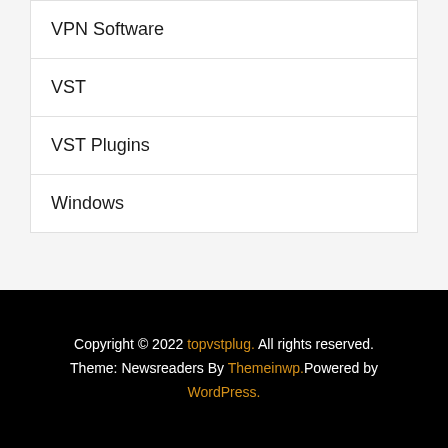VPN Software
VST
VST Plugins
Windows
Copyright © 2022 topvstplug. All rights reserved. Theme: Newsreaders By Themeinwp.Powered by WordPress.